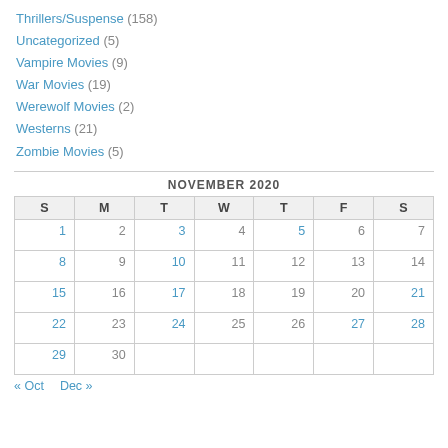Thrillers/Suspense (158)
Uncategorized (5)
Vampire Movies (9)
War Movies (19)
Werewolf Movies (2)
Westerns (21)
Zombie Movies (5)
NOVEMBER 2020
| S | M | T | W | T | F | S |
| --- | --- | --- | --- | --- | --- | --- |
| 1 | 2 | 3 | 4 | 5 | 6 | 7 |
| 8 | 9 | 10 | 11 | 12 | 13 | 14 |
| 15 | 16 | 17 | 18 | 19 | 20 | 21 |
| 22 | 23 | 24 | 25 | 26 | 27 | 28 |
| 29 | 30 |  |  |  |  |  |
« Oct   Dec »